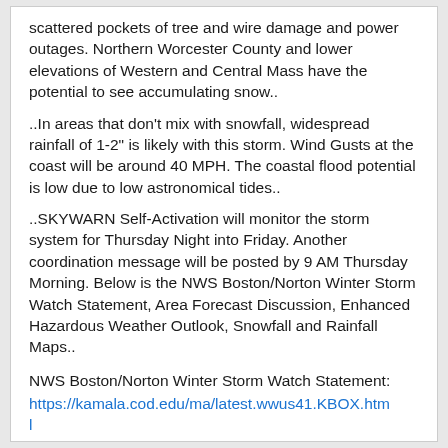scattered pockets of tree and wire damage and power outages. Northern Worcester County and lower elevations of Western and Central Mass have the potential to see accumulating snow..
..In areas that don't mix with snowfall, widespread rainfall of 1-2" is likely with this storm. Wind Gusts at the coast will be around 40 MPH. The coastal flood potential is low due to low astronomical tides..
..SKYWARN Self-Activation will monitor the storm system for Thursday Night into Friday. Another coordination message will be posted by 9 AM Thursday Morning. Below is the NWS Boston/Norton Winter Storm Watch Statement, Area Forecast Discussion, Enhanced Hazardous Weather Outlook, Snowfall and Rainfall Maps..
NWS Boston/Norton Winter Storm Watch Statement:
https://kamala.cod.edu/ma/latest.wwus41.KBOX.html